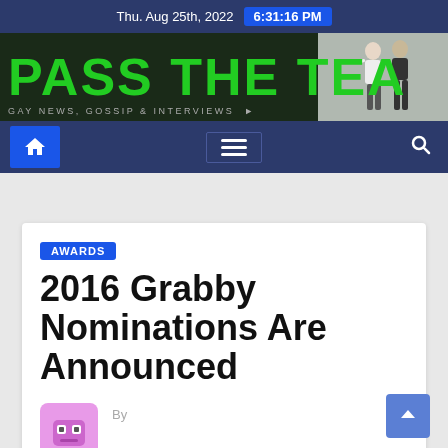Thu. Aug 25th, 2022  6:31:16 PM
[Figure (logo): Pass The Tea website banner logo in green bold text on dark background with silhouette photo]
GAY NEWS, GOSSIP & INTERVIEWS
[Figure (screenshot): Navigation bar with home icon (blue), hamburger menu, and search icon on dark blue background]
AWARDS
2016 Grabby Nominations Are Announced
By